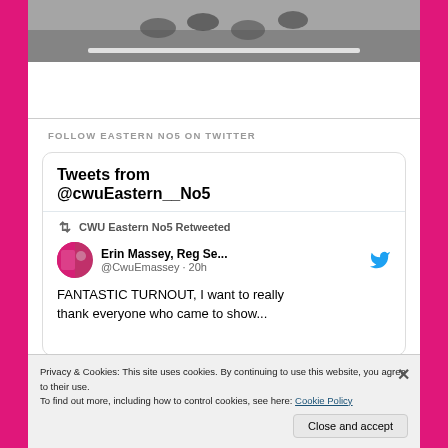[Figure (photo): Partial photo showing legs/feet on a road surface, cropped at top]
FOLLOW EASTERN NO5 ON TWITTER
[Figure (screenshot): Twitter widget showing Tweets from @cwuEastern__No5, with a retweet by CWU Eastern No5 of Erin Massey, Reg Se... (@CwuEmassey · 20h): FANTASTIC TURNOUT, I want to really thank everyone who came to show...]
Privacy & Cookies: This site uses cookies. By continuing to use this website, you agree to their use.
To find out more, including how to control cookies, see here: Cookie Policy
Close and accept